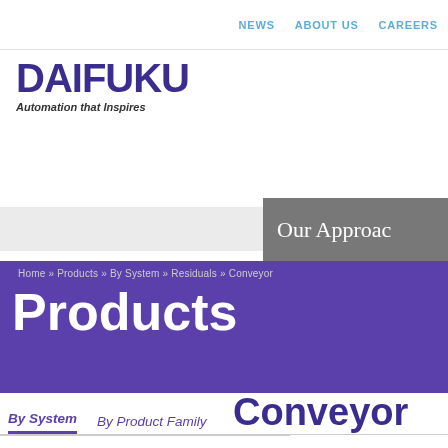NEWS   ABOUT US   CAREERS
[Figure (logo): Daifuku logo with text 'DAIFUKU' in large bold purple letters and tagline 'Automation that Inspires']
Our Approac
Home » Products » By System » Residuals » Conveyor
Products
By System
By Product Family
Conveyor
RECEIVING SYSTEMS
RESERVE